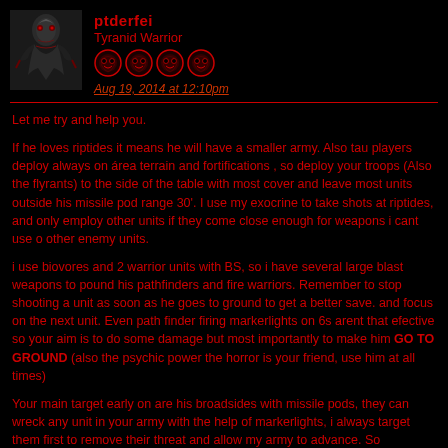ptderfei
Tyranid Warrior
Aug 19, 2014 at 12:10pm
Let me try and help you.
If he loves riptides it means he will have a smaller army. Also tau players deploy always on area terrain and fortifications , so deploy your troops (Also the flyrants) to the side of the table with most cover and leave most units outside his missile pod range 30'. I use my exocrine to take shots at riptides, and only employ other units if they come close enough for weapons i cant use o other enemy units.
i use biovores and 2 warrior units with BS, so i have several large blast weapons to pound his pathfinders and fire warriors. Remember to stop shooting a unit as soon as he goes to ground to get a better save. and focus on the next unit. Even path finder firing markerlights on 6s arent that efective so your aim is to do some damage but most importantly to make him GO TO GROUND (also the psychic power the horror is your friend, use him at all times)
Your main target early on are his broadsides with missile pods, they can wreck any unit in your army with the help of markerlights, i always target them first to remove their threat and allow my army to advance. So